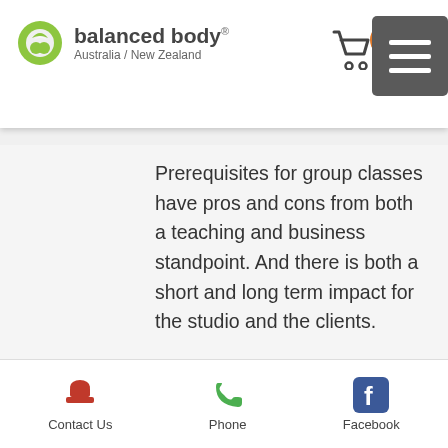[Figure (logo): Balanced Body Australia / New Zealand logo with shopping cart icon showing 0 items and a hamburger menu button]
Prerequisites for group classes have pros and cons from both a teaching and business standpoint. And there is both a short and long term impact for the studio and the clients.
Prerequisite Pros
Having a chance to teach fundamental principles and movements to new clients at a slower pace or in a one-on-one setting before they join general group classes is beneficial because:
Contact Us   Phone   Facebook